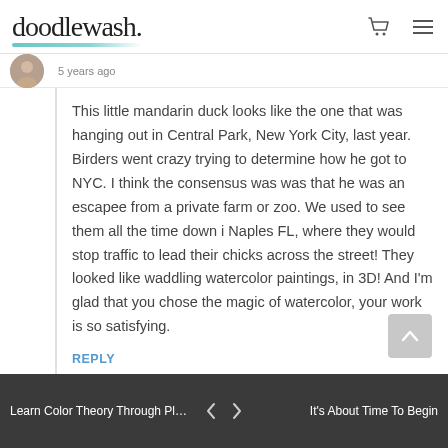doodlewash.
5 years ago
This little mandarin duck looks like the one that was hanging out in Central Park, New York City, last year. Birders went crazy trying to determine how he got to NYC. I think the consensus was was that he was an escapee from a private farm or zoo. We used to see them all the time down i Naples FL, where they would stop traffic to lead their chicks across the street! They looked like waddling watercolor paintings, in 3D! And I'm glad that you chose the magic of watercolor, your work is so satisfying.
REPLY
Learn Color Theory Through Playful Pain... < > It's About Time To Begin